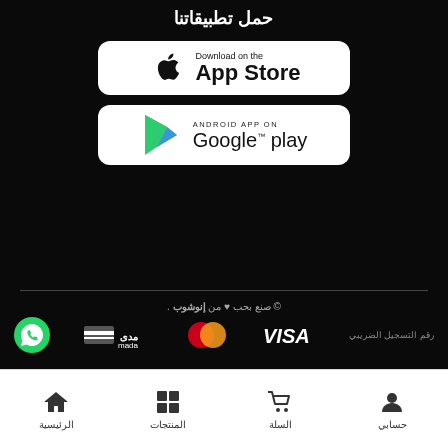حمل تطبيقاتنا
[Figure (logo): Download on the App Store button with Apple logo]
[Figure (logo): Android App on Google Play button with Play Store triangle logo]
© صنع بحب ♥ من إنوشوب .
[Figure (logo): WhatsApp icon, Mada payment logo, Mastercard logo, VISA logo]
رقم التسجيل الضريبي
الرئيسية  المنتجات  السلة  حسابي